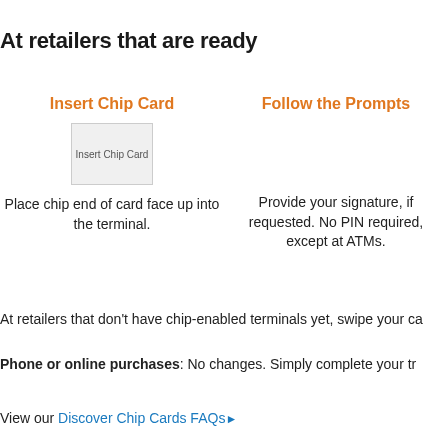At retailers that are ready
Insert Chip Card
[Figure (illustration): Insert Chip Card illustration showing card being inserted into terminal]
Place chip end of card face up into the terminal.
Follow the Prompts
Provide your signature, if requested. No PIN required, except at ATMs.
At retailers that don't have chip-enabled terminals yet, swipe your ca...
Phone or online purchases: No changes. Simply complete your tr...
View our Discover Chip Cards FAQs▶